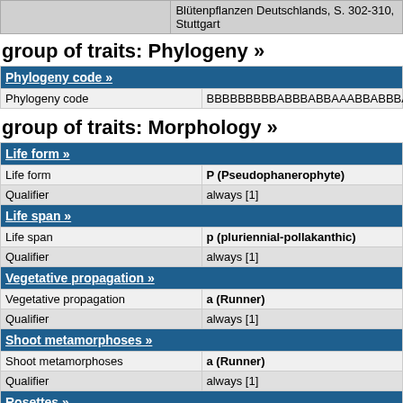|  | Blütenpflanzen Deutschlands, S. 302-310, Stuttgart |
group of traits: Phylogeny »
| Phylogeny code » |
| --- |
| Phylogeny code | BBBBBBBBBABBBABBAAABBABBBABABAB... |
group of traits: Morphology »
| Life form » |
| --- |
| Life form | P (Pseudophanerophyte) |
| Qualifier | always [1] |
| Life span » |
| --- |
| Life span | p (pluriennial-pollakanthic) |
| Qualifier | always [1] |
| Vegetative propagation » |
| --- |
| Vegetative propagation | a (Runner) |
| Qualifier | always [1] |
| Shoot metamorphoses » |
| --- |
| Shoot metamorphoses | a (Runner) |
| Qualifier | always [1] |
| Rosettes » |
| --- |
| Rosettes | r (Erosulate plant) |
| Qualifier | always [1] |
| Climbing » |
| --- |
| Climbing | s (Spread climbing) |
| Qualifier | always [1] |